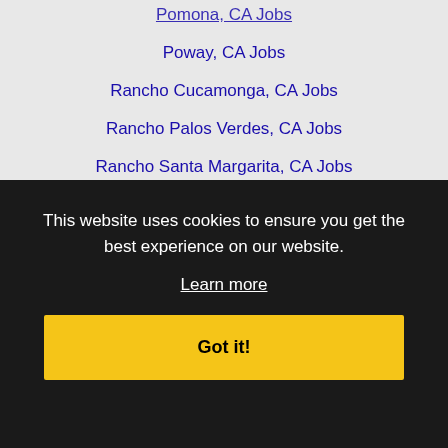Pomona, CA Jobs
Poway, CA Jobs
Rancho Cucamonga, CA Jobs
Rancho Palos Verdes, CA Jobs
Rancho Santa Margarita, CA Jobs
Redlands, CA Jobs
Redondo Beach, CA Jobs
Rialto, CA Jobs
Riverside, CA Jobs
Rosemead, CA Jobs
Rowland Heights, CA Jobs
San Bernardino, CA Jobs
San Gabriel, CA Jobs
San Jose, CA Jobs
Santa Ana, CA Jobs
Santa Clarita, CA Jobs
Santa Monica, CA Jobs
This website uses cookies to ensure you get the best experience on our website.
Learn more
Got it!